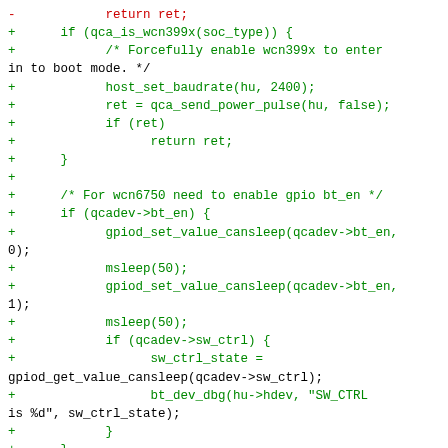[Figure (screenshot): A code diff showing additions (green) and removals (red) in a C source file related to QCA Bluetooth driver initialization, including wcn399x boot mode handling, GPIO bt_en enable for wcn6750, and power pulse sequence.]